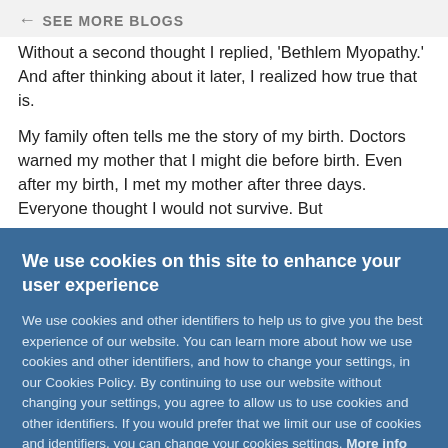← SEE MORE BLOGS
Without a second thought I replied, 'Bethlem Myopathy.' And after thinking about it later, I realized how true that is.
My family often tells me the story of my birth. Doctors warned my mother that I might die before birth. Even after my birth, I met my mother after three days. Everyone thought I would not survive. But
We use cookies on this site to enhance your user experience
We use cookies and other identifiers to help us to give you the best experience of our website. You can learn more about how we use cookies and other identifiers, and how to change your settings, in our Cookies Policy. By continuing to use our website without changing your settings, you agree to allow us to use cookies and other identifiers. If you would prefer that we limit our use of cookies and identifiers, you can change your cookies settings. More info
OK, I AGREE
NO, THANKS